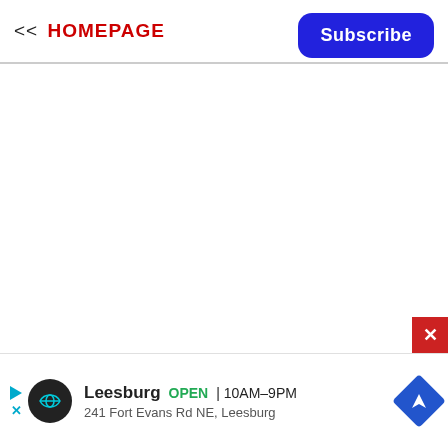<< HOMEPAGE
[Figure (other): Blue 'Subscribe' button in top right corner of page header]
[Figure (screenshot): Main empty white content area of a webpage]
[Figure (other): Red close/dismiss button (X) at bottom right]
[Figure (other): Advertisement bar at bottom: Leesburg store ad with logo, OPEN 10AM-9PM, 241 Fort Evans Rd NE, Leesburg, with navigation arrow icon]